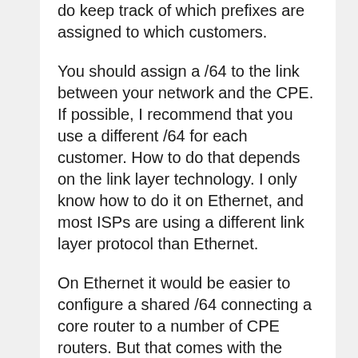do keep track of which prefixes are assigned to which customers.
You should assign a /64 to the link between your network and the CPE. If possible, I recommend that you use a different /64 for each customer. How to do that depends on the link layer technology. I only know how to do it on Ethernet, and most ISPs are using a different link layer protocol than Ethernet.
On Ethernet it would be easier to configure a shared /64 connecting a core router to a number of CPE routers. But that comes with the drawback that there are certain vulnerabilities that haven't been patched on all systems yet, because they can only be